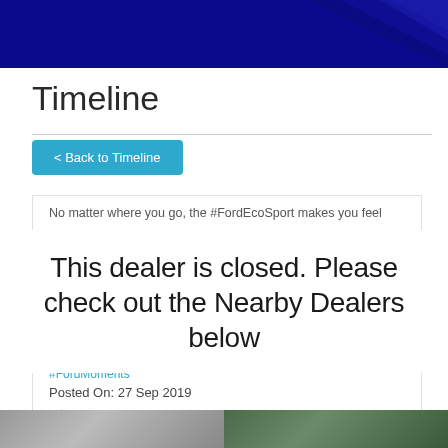[Figure (illustration): Top dark blue banner with geometric shapes in blue tones on right side]
Timeline
< Back to Timeline
No matter where you go, the #FordEcoSport makes you feel
This dealer is closed. Please check out the Nearby Dealers below
#FordMoments
Posted On: 27 Sep 2019
[Figure (photo): Two partial photo thumbnails at the bottom of the page]